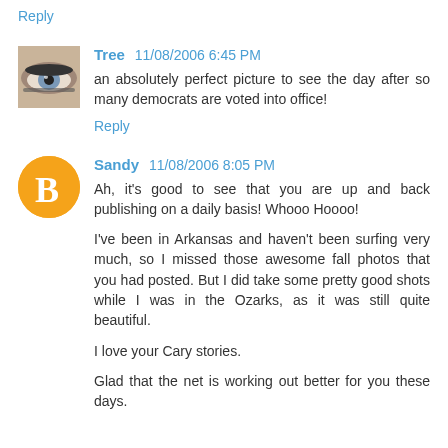Reply
Tree 11/08/2006 6:45 PM
[Figure (photo): Small avatar photo showing a close-up of an eye with dark eye makeup]
an absolutely perfect picture to see the day after so many democrats are voted into office!
Reply
Sandy 11/08/2006 8:05 PM
[Figure (logo): Orange circular Blogger icon with white letter B]
Ah, it's good to see that you are up and back publishing on a daily basis! Whooo Hoooo!

I've been in Arkansas and haven't been surfing very much, so I missed those awesome fall photos that you had posted. But I did take some pretty good shots while I was in the Ozarks, as it was still quite beautiful.

I love your Cary stories.

Glad that the net is working out better for you these days.